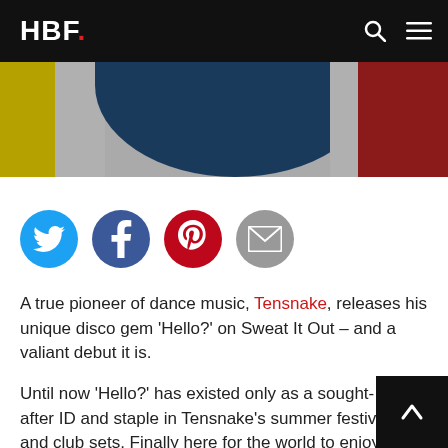HBF.
[Figure (photo): Partial hero image showing colored circular/arc shapes in yellow, gray, dark blue, gray, and dark red against a gray background]
[Figure (infographic): Social sharing icons row: Twitter (blue circle), Facebook (dark blue circle), Pinterest (red circle), Email (gray circle)]
A true pioneer of dance music, Tensnake, releases his unique disco gem ‘Hello?’ on Sweat It Out – and a valiant debut it is.
Until now ‘Hello?’ has existed only as a sought-after ID and staple in Tensnake’s summer festival and club sets. Finally here for the world to enjoy, ‘Hello?’ brings an